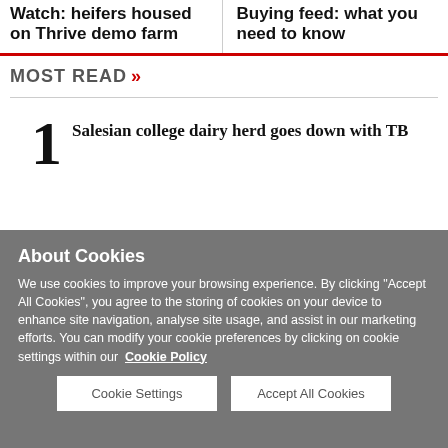Watch: heifers housed on Thrive demo farm
Buying feed: what you need to know
MOST READ »
1 Salesian college dairy herd goes down with TB
About Cookies
We use cookies to improve your browsing experience. By clicking "Accept All Cookies", you agree to the storing of cookies on your device to enhance site navigation, analyse site usage, and assist in our marketing efforts. You can modify your cookie preferences by clicking on cookie settings within our Cookie Policy
Cookie Settings
Accept All Cookies